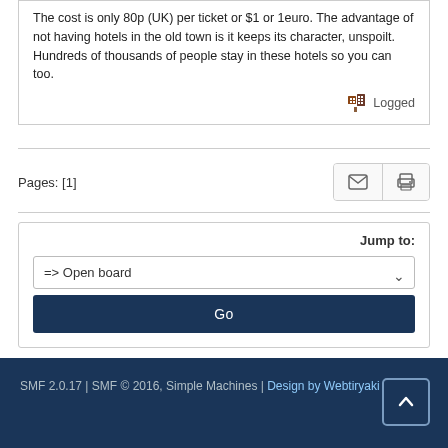The cost is only 80p (UK) per ticket or $1 or 1euro. The advantage of not having hotels in the old town is it keeps its character, unspoilt. Hundreds of thousands of people stay in these hotels so you can too.
Logged
Pages: [1]
[Figure (screenshot): Email and print icon buttons in a bordered box]
Jump to:
=> Open board
Go
SMF 2.0.17 | SMF © 2016, Simple Machines | Design by Webtiryaki